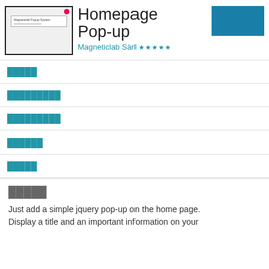[Figure (screenshot): Screenshot of Magneticlab Popup System plugin interface showing a popup dialog with title and text fields]
Homepage Pop-up
Magneticlab Sàrl ★★★★★
█████
█████████
█████████
██████
█████
█████
Just add a simple jquery pop-up on the home page. Display a title and an important information on your